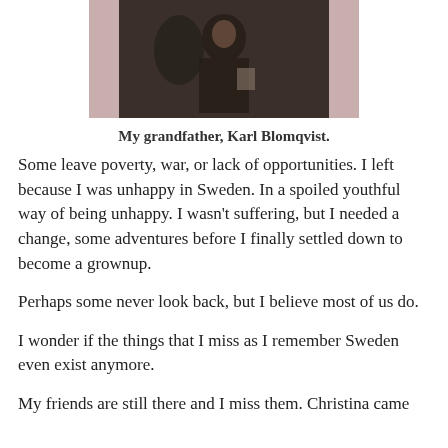[Figure (photo): Old black and white photograph of a man, Karl Blomqvist, with a pink/mauve colored mat/border behind the photo]
My grandfather, Karl Blomqvist.
Some leave poverty, war, or lack of opportunities. I left because I was unhappy in Sweden. In a spoiled youthful way of being unhappy. I wasn't suffering, but I needed a change, some adventures before I finally settled down to become a grownup.
Perhaps some never look back, but I believe most of us do.
I wonder if the things that I miss as I remember Sweden even exist anymore.
My friends are still there and I miss them. Christina came